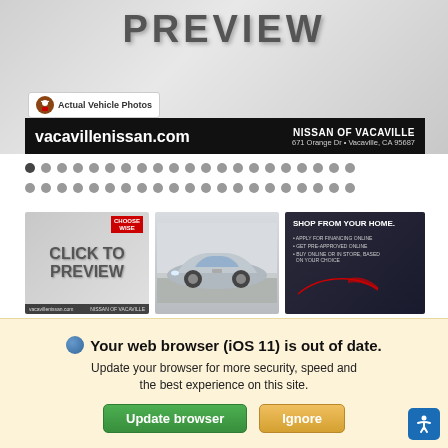[Figure (screenshot): Top banner with PREVIEW text overlay and 'Actual Vehicle Photos' badge on a gray gradient background]
vacavillenissan.com
NISSAN OF VACAVILLE
671 Orange Dr • Vacaville, CA 95687
[Figure (screenshot): Navigation dots row 1 - 21 dots, first one active]
[Figure (screenshot): Navigation dots row 2 - 21 dots]
[Figure (screenshot): Three vehicle listing thumbnails: Click to Preview, silver Nissan Sentra photo, Shop From Your Home ad]
NISSAN OF VACAVILLE
View Dealer's Inventory
Your web browser (iOS 11) is out of date.
Update your browser for more security, speed and the best experience on this site.
Update browser
Ignore